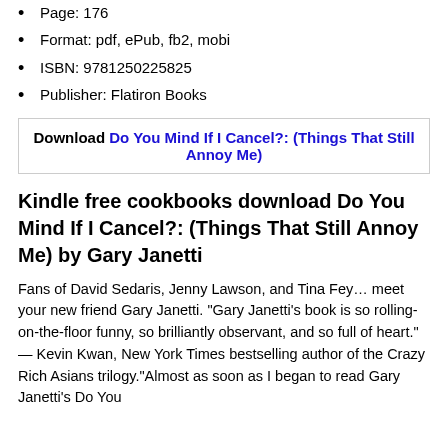Page: 176
Format: pdf, ePub, fb2, mobi
ISBN: 9781250225825
Publisher: Flatiron Books
Download Do You Mind If I Cancel?: (Things That Still Annoy Me)
Kindle free cookbooks download Do You Mind If I Cancel?: (Things That Still Annoy Me) by Gary Janetti
Fans of David Sedaris, Jenny Lawson, and Tina Fey… meet your new friend Gary Janetti. "Gary Janetti's book is so rolling-on-the-floor funny, so brilliantly observant, and so full of heart." — Kevin Kwan, New York Times bestselling author of the Crazy Rich Asians trilogy."Almost as soon as I began to read Gary Janetti's Do You